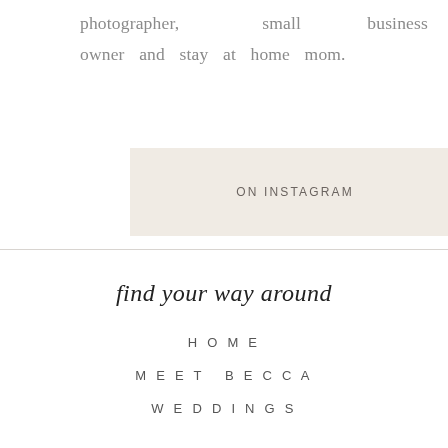photographer, small business owner and stay at home mom.
[Figure (other): Beige/cream colored rectangular button or banner labeled 'ON INSTAGRAM' in spaced uppercase sans-serif letters]
find your way around
HOME
MEET BECCA
WEDDINGS